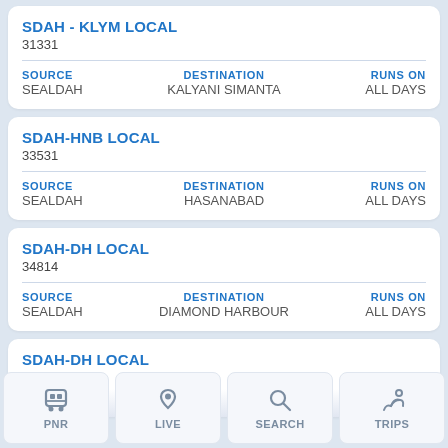SDAH - KLYM LOCAL
31331
| SOURCE | DESTINATION | RUNS ON |
| --- | --- | --- |
| SEALDAH | KALYANI SIMANTA | ALL DAYS |
SDAH-HNB LOCAL
33531
| SOURCE | DESTINATION | RUNS ON |
| --- | --- | --- |
| SEALDAH | HASANABAD | ALL DAYS |
SDAH-DH LOCAL
34814
| SOURCE | DESTINATION | RUNS ON |
| --- | --- | --- |
| SEALDAH | DIAMOND HARBOUR | ALL DAYS |
SDAH-DH LOCAL
PNR   LIVE   SEARCH   TRIPS